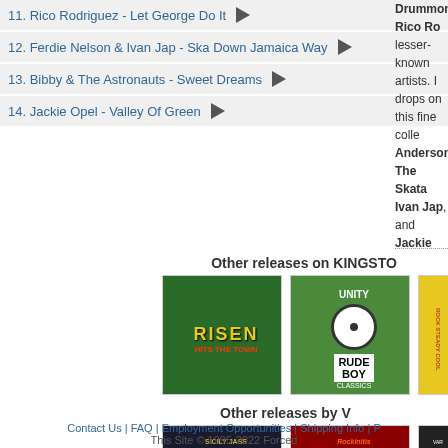11. Rico Rodriguez - Let George Do It
12. Ferdie Nelson & Ivan Jap - Ska Down Jamaica Way
13. Bibby & The Astronauts - Sweet Dreams
14. Jackie Opel - Valley Of Green
Drummond, Rico Rodriguez, and other lesser-known artists. Magic drops on this fine collection from Anderson, The Skatalties, Ivan Jap, and Jackie...
Other releases on KINGSTO...
[Figure (photo): Album cover: Risen Hits The Town - green background with performer]
[Figure (photo): Album cover: Rude Boy Classics - green vinyl single with Unity label]
[Figure (photo): Album cover: Rock Steady Cool - yellow background with dancers]
Other releases by V...
[Figure (photo): Album cover: Sicily Jass The Soundtrack - dark background with musicians]
[Figure (photo): Album cover: Rockinitis - red background with woman]
[Figure (photo): Album cover: Various - dark background with photo collage]
Contact Us | FAQ | Employment Opportunities | Shipping Info | P... This Site © 1995-2022 Forced